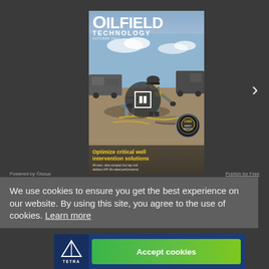[Figure (screenshot): Oilfield Technology magazine cover displayed in an online magazine viewer (Issuu). The cover shows a worker in hard hat operating wellhead equipment at an oilfield site. Text on cover: 'OILFIELD TECHNOLOGY', 'Optimize critical well intervention solutions', 'All-new, ultra-compact hot tap unit delivers API 6A-rated performance'. A circular play button overlay is visible on the cover. A right-navigation arrow is visible on the right side.]
Powered by issuu   Publish for Free
We use cookies to ensure you get the best experience on our website. By using this site, you agree to the use of cookies. Learn more
[Figure (screenshot): TETRA Technologies banner advertisement at the bottom of the page with Accept cookies button in green.]